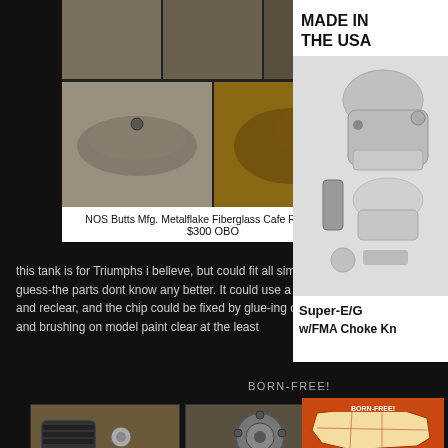[Figure (photo): Multiple photos of a NOS Butts Mfg. Metalflake Fiberglass Cafe Racer Tank from different angles on dark background]
NOS Butts Mfg. Metalflake Fiberglass Cafe Racer Tank
$300 OBO
this tank is for Triumphs i believe, but could fit all similar bikes i guess-the parts dont know any better. It could use a light wetsand and reclear, and the chip could be fixed by glue-ing on some flake and brushing on model paint clear at the least
[Figure (photo): Advertisement: Made in the USA - Super-E/G w/FMA Choke Knob carburetor product, chrome finish]
BORN-FREE!
[Figure (photo): Two bottom row photos: motorcycle footpeg/hardware part on left, motorcycle engine/transmission part on right]
[Figure (photo): Born-Free event poster with map of USA on orange/red background]